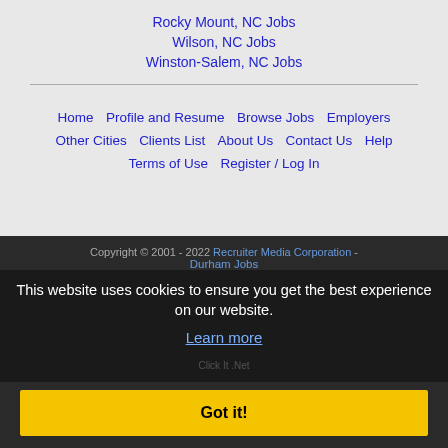Rocky Mount, NC Jobs
Wilson, NC Jobs
Winston-Salem, NC Jobs
Home | Profile and Resume | Browse Jobs | Employers | Other Cities | Clients List | About Us | Contact Us | Help | Terms of Use | Register / Log In
Copyright © 2001 - 2022 Recruiter Media Corporation - Durham Jobs
This website uses cookies to ensure you get the best experience on our website.
Learn more
Got it!